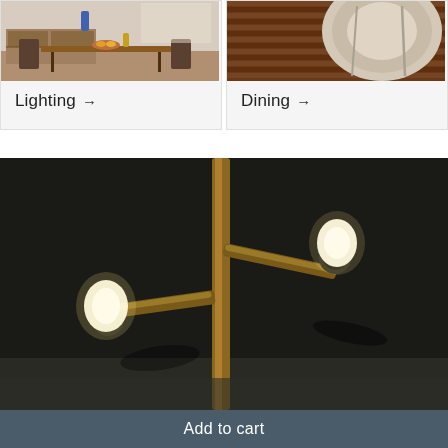[Figure (photo): Dining room scene with wooden table, chairs, decorative bowl and objects — category card image for Lighting]
Lighting →
[Figure (photo): Close-up of a plate and woven placemat in brown tones — category card image for Dining]
Dining →
[Figure (photo): Close-up of a modern floor lamp with a brass/gold pole and two glowing bulbs on black mounts against a dark background]
Add to cart